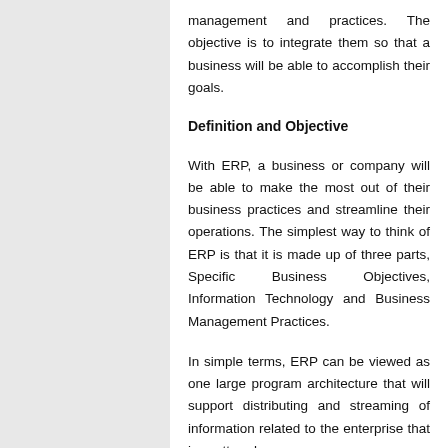management and practices. The objective is to integrate them so that a business will be able to accomplish their goals.
Definition and Objective
With ERP, a business or company will be able to make the most out of their business practices and streamline their operations. The simplest way to think of ERP is that it is made up of three parts, Specific Business Objectives, Information Technology and Business Management Practices.
In simple terms, ERP can be viewed as one large program architecture that will support distributing and streaming of information related to the enterprise that is scattered